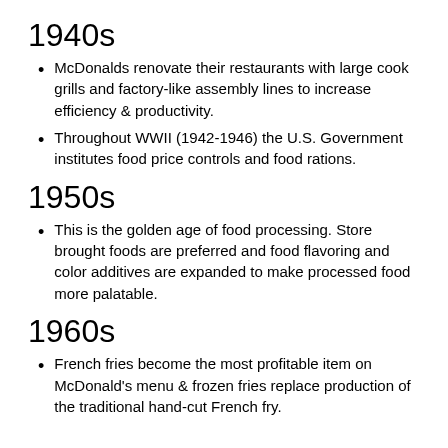1940s
McDonalds renovate their restaurants with large cook grills and factory-like assembly lines to increase efficiency & productivity.
Throughout WWII (1942-1946) the U.S. Government institutes food price controls and food rations.
1950s
This is the golden age of food processing. Store brought foods are preferred and food flavoring and color additives are expanded to make processed food more palatable.
1960s
French fries become the most profitable item on McDonald's menu & frozen fries replace production of the traditional hand-cut French fry.